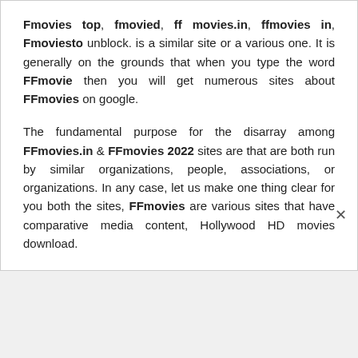Fmovies top, fmovied, ff movies.in, ffmovies in, Fmoviesto unblock. is a similar site or a various one. It is generally on the grounds that when you type the word FFmovie then you will get numerous sites about FFmovies on google.
The fundamental purpose for the disarray among FFmovies.in & FFmovies 2022 sites are that are both run by similar organizations, people, associations, or organizations. In any case, let us make one thing clear for you both the sites, FFmovies are various sites that have comparative media content, Hollywood HD movies download.